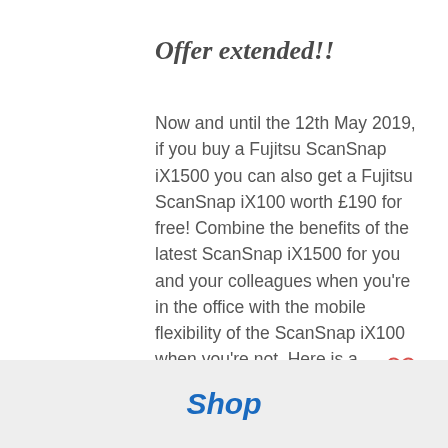Offer extended!!
Now and until the 12th May 2019, if you buy a Fujitsu ScanSnap iX1500 you can also get a Fujitsu ScanSnap iX100 worth £190 for free! Combine the benefits of the latest ScanSnap iX1500 for you and your colleagues when you're in the office with the mobile flexibility of the ScanSnap iX100 when you're not. Here is a fantastic opportunity to maximise your productivity. All you need to scan when you're in the office and now even when you're not. With simple one-touch technology, t
0  0